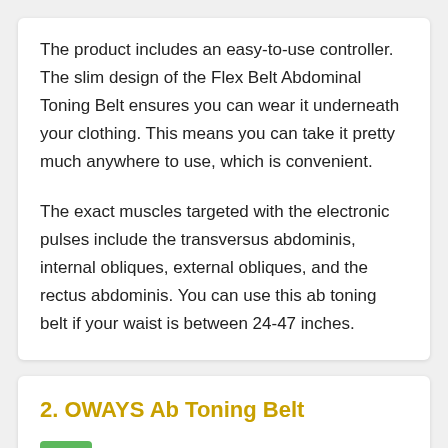The product includes an easy-to-use controller. The slim design of the Flex Belt Abdominal Toning Belt ensures you can wear it underneath your clothing. This means you can take it pretty much anywhere to use, which is convenient.
The exact muscles targeted with the electronic pulses include the transversus abdominis, internal obliques, external obliques, and the rectus abdominis. You can use this ab toning belt if your waist is between 24-47 inches.
2. OWAYS Ab Toning Belt